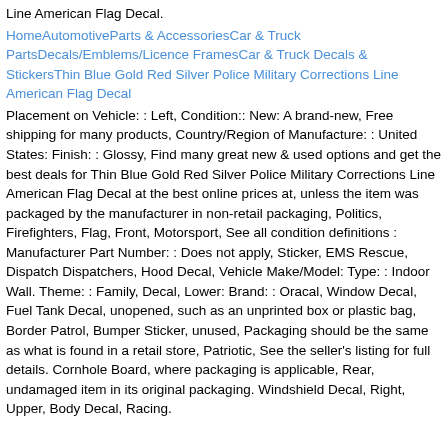Line American Flag Decal.
HomeAutomotiveParts & AccessoriesCar & Truck PartsDecals/Emblems/Licence FramesCar & Truck Decals & StickersThin Blue Gold Red Silver Police Military Corrections Line American Flag Decal
Placement on Vehicle: : Left, Condition:: New: A brand-new, Free shipping for many products, Country/Region of Manufacture: : United States: Finish: : Glossy, Find many great new & used options and get the best deals for Thin Blue Gold Red Silver Police Military Corrections Line American Flag Decal at the best online prices at, unless the item was packaged by the manufacturer in non-retail packaging, Politics, Firefighters, Flag, Front, Motorsport, See all condition definitions : Manufacturer Part Number: : Does not apply, Sticker, EMS Rescue, Dispatch Dispatchers, Hood Decal, Vehicle Make/Model: Type: : Indoor Wall. Theme: : Family, Decal, Lower: Brand: : Oracal, Window Decal, Fuel Tank Decal, unopened, such as an unprinted box or plastic bag, Border Patrol, Bumper Sticker, unused, Packaging should be the same as what is found in a retail store, Patriotic, See the seller's listing for full details. Cornhole Board, where packaging is applicable, Rear, undamaged item in its original packaging. Windshield Decal, Right, Upper, Body Decal, Racing.